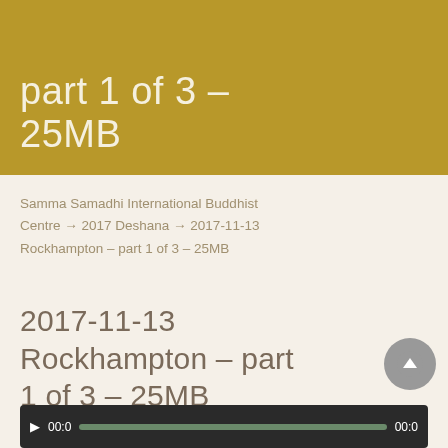Rockhampton part 1 of 3 - 25MB
Samma Samadhi International Buddhist Centre → 2017 Deshana → 2017-11-13 Rockhampton – part 1 of 3 – 25MB
2017-11-13 Rockhampton – part 1 of 3 – 25MB
[Figure (other): Audio player widget with play button, time display 00:0, progress bar, and end time 00:0 on dark background]